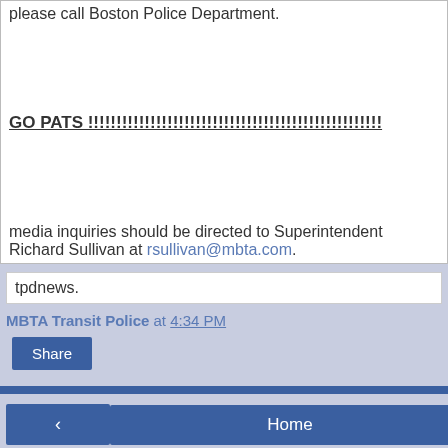please call Boston Police Department.
GO PATS !!!!!!!!!!!!!!!!!!!!!!!!!!!!!!!!!!!!!!!!!!!!!!!!!!!!
media inquiries should be directed to Superintendent Richard Sullivan at rsullivan@mbta.com.
tpdnews.
MBTA Transit Police at 4:34 PM
Share
Home | View web version